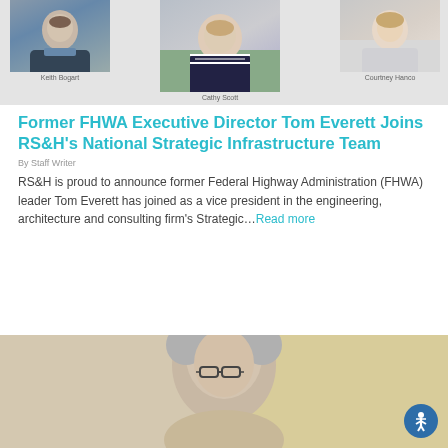[Figure (photo): Three professional headshots: Keith Bogart (male, beard, dark jacket), Cathy Scott (female, striped top, outdoor setting), Courtney Hanco (female, light blazer)]
Keith Bogart
Cathy Scott
Courtney Hanco
Former FHWA Executive Director Tom Everett Joins RS&H's National Strategic Infrastructure Team
By Staff Writer
RS&H is proud to announce former Federal Highway Administration (FHWA) leader Tom Everett has joined as a vice president in the engineering, architecture and consulting firm's Strategic…Read more
[Figure (photo): Professional headshot of an older man with gray hair and glasses, partial view from forehead to chin, warm beige/tan background]